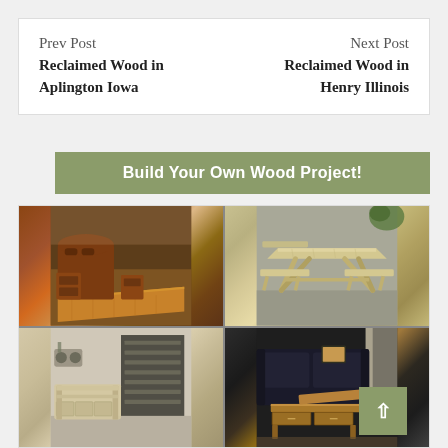Prev Post
Reclaimed Wood in Aplington Iowa
Next Post
Reclaimed Wood in Henry Illinois
Build Your Own Wood Project!
[Figure (photo): Grid of four wood project photos: top-left shows a handcrafted wooden bed frame with headboard and nightstands in warm brown tones; top-right shows a light wood picnic table with attached benches outdoors; bottom-left shows a bed frame under construction in light unfinished wood; bottom-right shows a wooden lift-top coffee table with storage drawers in front of a dark leather couch.]